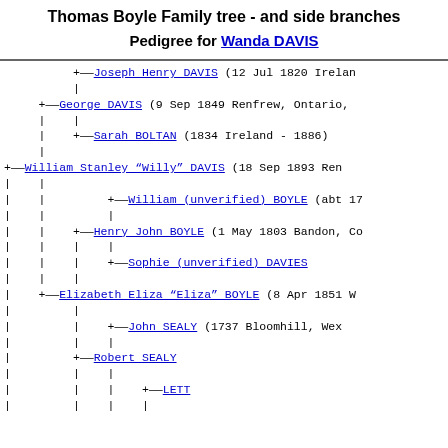Thomas Boyle Family tree - and side branches
Pedigree for Wanda DAVIS
[Figure (organizational-chart): Genealogical pedigree tree showing ancestors of Wanda DAVIS. Includes Joseph Henry DAVIS (12 Jul 1820 Ireland), George DAVIS (9 Sep 1849 Renfrew, Ontario), Sarah BOLTAN (1834 Ireland - 1886), William Stanley "Willy" DAVIS (18 Sep 1893 Renfrew), William (unverified) BOYLE (abt 17??), Henry John BOYLE (1 May 1803 Bandon, Co...), Sophie (unverified) DAVIES, Elizabeth Eliza "Eliza" BOYLE (8 Apr 1851), John SEALY (1737 Bloomhill, Wex...), Robert SEALY, LETT.]